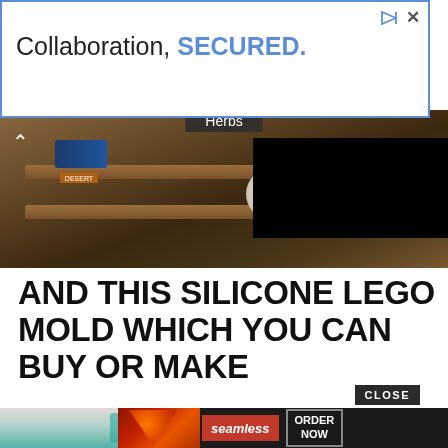[Figure (screenshot): Advertisement banner with text 'Collaboration, SECURED.' with blue border, play icon and X close icon in top right corner]
[Figure (photo): Kitchen scene with herbs label visible, dark overlay on right side, spice boxes on wooden shelf, chevron/back arrow on left]
AND THIS SILICONE LEGO MOLD WHICH YOU CAN BUY OR MAKE
[Figure (photo): Silicone LEGO mold being held, showing teal/green LEGO brick shapes in a white silicone tray]
[Figure (screenshot): Seamless food delivery advertisement with pizza image, seamless logo in red, and ORDER NOW button in bordered box. CLOSE button overlay above.]